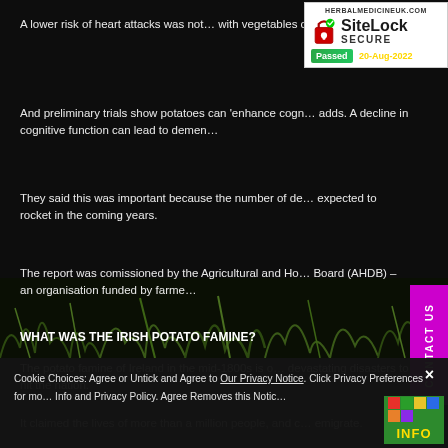[Figure (logo): SiteLock SECURE badge with domain HERBALMEDICINEUK.COM, padlock icon, and Passed 20-Aug-2022 label]
A lower risk of heart attacks was not… with vegetables or potatoes.
And preliminary trials show potatoes can 'enhance cogn… adds. A decline in cognitive function can lead to demen…
They said this was important because the number of de… expected to rocket in the coming years.
The report was comissioned by the Agricultural and Ho… Board (AHDB) – an organisation funded by farme…
WHAT WAS THE IRISH POTATO FAMINE?
The potato famine of Ireland in the mid-1800s is o… devastating disasters to hit the nation.
It claimed the lives of more than a million people, and c… emigrate.
[Figure (illustration): Dark background with grass/vegetation silhouettes at bottom]
[Figure (other): CONTACT US vertical magenta sidebar button]
Cookie Choices: Agree or Untick and Agree to Our Privacy Notice. Click Privacy Preferences for mo… Info and Privacy Policy. Agree Removes this Notic…
[Figure (other): INFO badge with colorful squares icon]